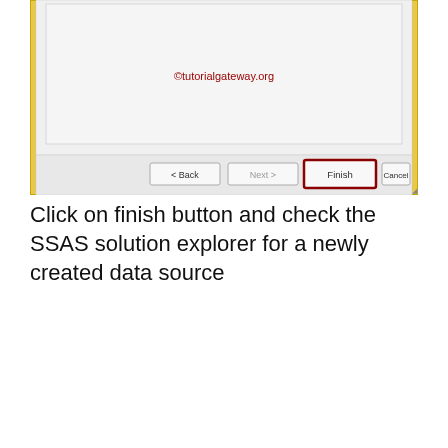[Figure (screenshot): Screenshot of a wizard dialog showing a content area with ©tutorialgateway.org watermark, and navigation buttons: Back, Next (greyed), Finish (highlighted with dark red border), Cancel.]
Click on finish button and check the SSAS solution explorer for a newly created data source